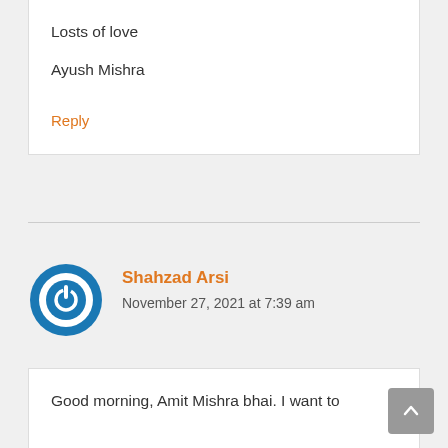Losts of love
Ayush Mishra
Reply
Shahzad Arsi
November 27, 2021 at 7:39 am
Good morning, Amit Mishra bhai. I want to